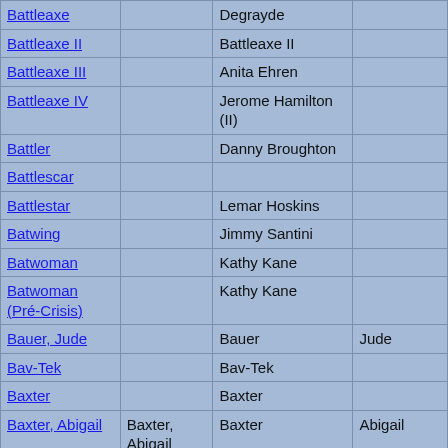| Name | Col2 | Col3 | Col4 |
| --- | --- | --- | --- |
| Battleaxe |  | Degrayde |  |
| Battleaxe II |  | Battleaxe II |  |
| Battleaxe III |  | Anita Ehren |  |
| Battleaxe IV |  | Jerome Hamilton (II) |  |
| Battler |  | Danny Broughton |  |
| Battlescar |  |  |  |
| Battlestar |  | Lemar Hoskins |  |
| Batwing |  | Jimmy Santini |  |
| Batwoman |  | Kathy Kane |  |
| Batwoman (Pré-Crisis) |  | Kathy Kane |  |
| Bauer, Jude |  | Bauer | Jude |
| Bav-Tek |  | Bav-Tek |  |
| Baxter |  | Baxter |  |
| Baxter, Abigail | Baxter, Abigail | Baxter | Abigail |
| Baxter, Noah | Baxter, Noah | Baxter | Noah |
| Baxu |  | Baxu |  |